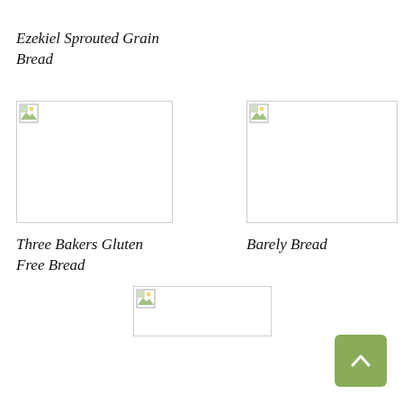Ezekiel Sprouted Grain Bread
[Figure (photo): Broken image placeholder - left top]
[Figure (photo): Broken image placeholder - right top]
Three Bakers Gluten Free Bread
Barely Bread
[Figure (photo): Broken image placeholder - center bottom]